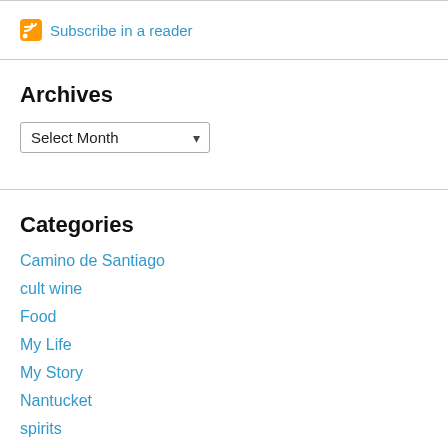Subscribe in a reader
Archives
Select Month
Categories
Camino de Santiago
cult wine
Food
My Life
My Story
Nantucket
spirits
staglin